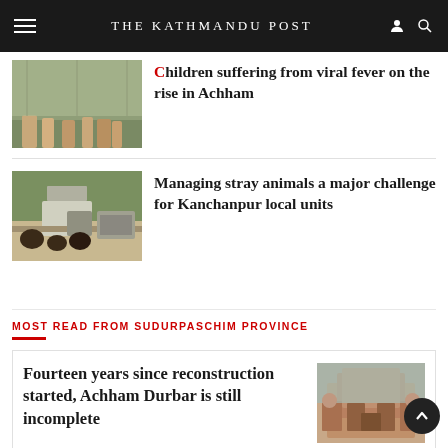The Kathmandu Post
Children suffering from viral fever on the rise in Achham
[Figure (photo): People sitting in a covered outdoor area, likely waiting at a health facility]
Managing stray animals a major challenge for Kanchanpur local units
[Figure (photo): Stray animals (buffalo/cattle) on a road with a truck parked nearby]
MOST READ FROM SUDURPASCHIM PROVINCE
Fourteen years since reconstruction started, Achham Durbar is still incomplete
[Figure (photo): Historic Achham Durbar building under reconstruction, brick structure with turrets]